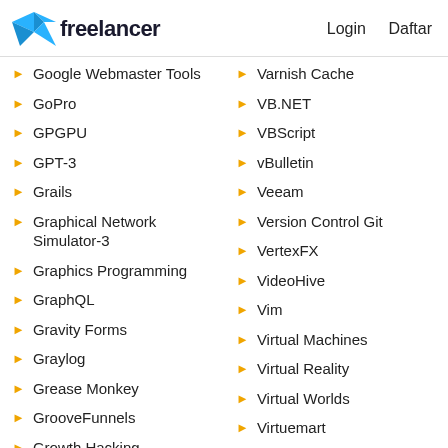Freelancer | Login | Daftar
Google Webmaster Tools
GoPro
GPGPU
GPT-3
Grails
Graphical Network Simulator-3
Graphics Programming
GraphQL
Gravity Forms
Graylog
Grease Monkey
GrooveFunnels
Growth Hacking
Varnish Cache
VB.NET
VBScript
vBulletin
Veeam
Version Control Git
VertexFX
VideoHive
Vim
Virtual Machines
Virtual Reality
Virtual Worlds
Virtuemart
Virtuozzo